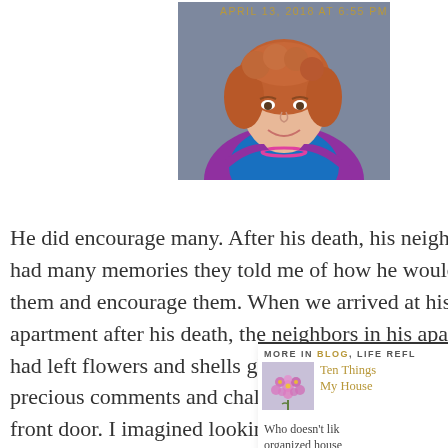[Figure (photo): Headshot of a woman with curly reddish-brown hair, wearing a magenta/purple cardigan and teal top with pink necklace, outdoors near a brick wall]
APRIL 13, 2018 AT 6:55 PM
He did encourage many. After his death, his neighbors had many memories they told me of how he would talk to them and encourage them. When we arrived at his apartment after his death, the neighbors in his apartment had left flowers and shells glasses on his stoop and of precious comments and chalk upon his concrete pa his front door. I imagined looking down from heaven and
[Figure (photo): Small purple/pink flower cluster thumbnail image]
MORE IN BLOG, LIFE REFL
Ten Things My House
Who doesn't lik organized house And I bet yours...